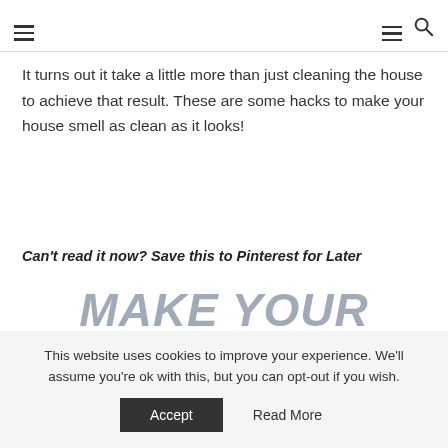[hamburger menu] [hamburger menu] [search icon]
It turns out it take a little more than just cleaning the house to achieve that result. These are some hacks to make your house smell as clean as it looks!
Can't read it now? Save this to Pinterest for Later
MAKE YOUR HOME SMELL WONDERFUL
This website uses cookies to improve your experience. We'll assume you're ok with this, but you can opt-out if you wish. Accept  Read More